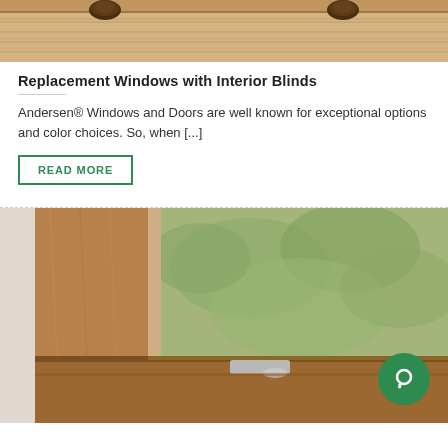[Figure (photo): Top portion of a wooden window with interior blinds, showing two dark brown knobs at the top of a light wood-colored blind headrail against a white window frame.]
Replacement Windows with Interior Blinds
Andersen® Windows and Doors are well known for exceptional options and color choices. So, when [...]
READ MORE
[Figure (photo): Close-up photograph of a wooden double-hung window with warm brown wood grain finish, showing the window sash lock hardware and a blurred green garden view through the glass. A green circular chat icon is visible in the bottom right corner.]